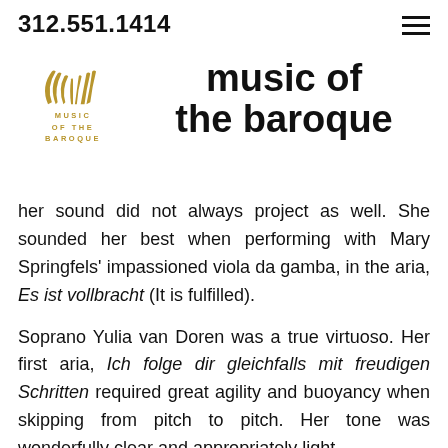312.551.1414
[Figure (logo): Music of the Baroque logo with gold feather/wing design and text MUSIC OF THE BAROQUE]
music of the baroque
her sound did not always project as well. She sounded her best when performing with Mary Springfels' impassioned viola da gamba, in the aria, Es ist vollbracht (It is fulfilled).
Soprano Yulia van Doren was a true virtuoso. Her first aria, Ich folge dir gleichfalls mit freudigen Schritten required great agility and buoyancy when skipping from pitch to pitch. Her tone was wonderfully clear and appropriately light.
The role of Jesus was sung by bass-baritone Nathan Berg with a tone rich, commanding and